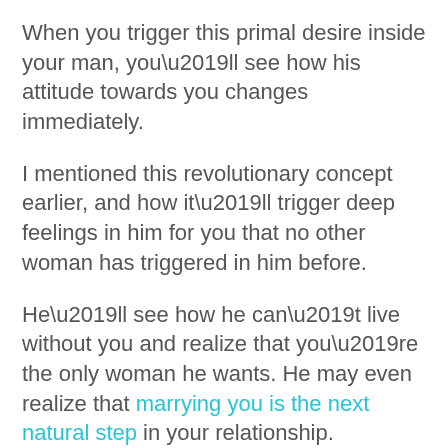When you trigger this primal desire inside your man, you’ll see how his attitude towards you changes immediately.
I mentioned this revolutionary concept earlier, and how it’ll trigger deep feelings in him for you that no other woman has triggered in him before.
He’ll see how he can’t live without you and realize that you’re the only woman he wants. He may even realize that marrying you is the next natural step in your relationship.
Here’s a link to the free video again.